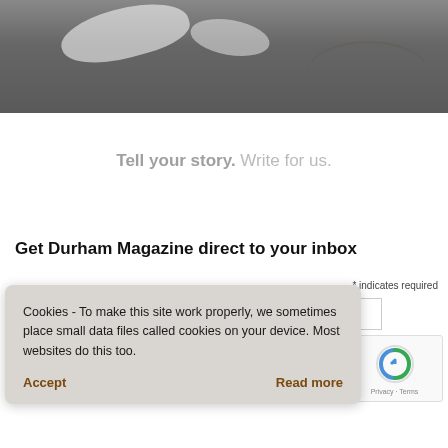[Figure (photo): Photograph of a muddy road surface with puddles of white milky water and tire tracks on dark wet ground]
Tell your story. Write for us.
Get Durham Magazine direct to your inbox
* indicates required
Cookies - To make this site work properly, we sometimes place small data files called cookies on your device. Most websites do this too.
Accept
Read more